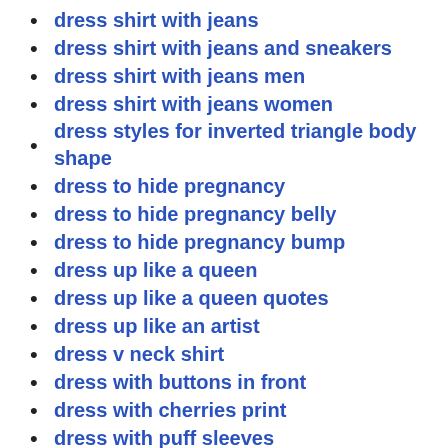dress shirt with jeans
dress shirt with jeans and sneakers
dress shirt with jeans men
dress shirt with jeans women
dress styles for inverted triangle body shape
dress to hide pregnancy
dress to hide pregnancy belly
dress to hide pregnancy bump
dress up like a queen
dress up like a queen quotes
dress up like an artist
dress v neck shirt
dress with buttons in front
dress with cherries print
dress with puff sleeves